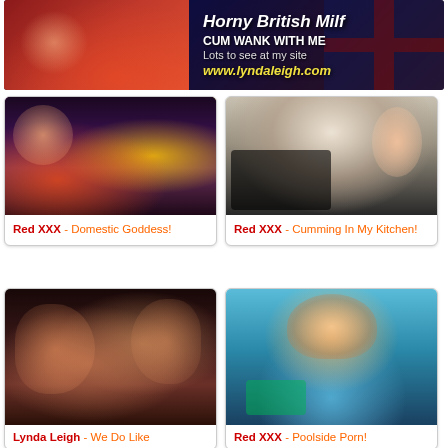[Figure (photo): Banner advertisement for lyndaleigh.com showing 'Horny British Milf - CUM WANK WITH ME - Lots to see at my site www.lyndaleigh.com' with Union Jack flag background]
[Figure (photo): Thumbnail image for Red XXX - Domestic Goddess adult content]
Red XXX - Domestic Goddess!
[Figure (photo): Thumbnail image for Red XXX - Cumming In My Kitchen adult content]
Red XXX - Cumming In My Kitchen!
[Figure (photo): Thumbnail image for Lynda Leigh - We Do Like adult content]
Lynda Leigh - We Do Like
[Figure (photo): Thumbnail image for Red XXX - Poolside Porn adult content]
Red XXX - Poolside Porn!